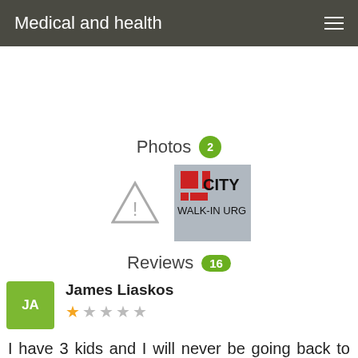Medical and health
Photos 2
[Figure (photo): Warning/unavailable image icon (triangle with exclamation mark)]
[Figure (photo): City Walk-In Urgent Care sign photo thumbnail]
Reviews 16
James Liaskos
1 star out of 5
I have 3 kids and I will never be going back to this place again. I visited their Commack location last year when my daughter had an ear infection. I asked them how